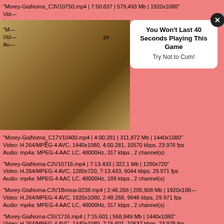"Morey-GiaNoma_C3V10750.mp4 | 7:50.837 | 579,493 Mb | 1920x1080"
Vid—
Au—
"M—
Vid—
Au—
[Figure (photo): Thumbnail image partially visible behind popup overlay]
You Won't Last 40 Seconds Playing This Game
Try Not to Cum!
"Morey-GiaNoma_C17V10400.mp4 | 4:00.281 | 311,872 Mb | 1440x1080"
Video: H.264/MPEG-4 AVC, 1440x1080, 4:00.281, 10570 kbps, 23.976 fps
Audio: mp4a: MPEG-4 AAC LC, 48000Hz, 317 kbps , 2 channel(s)
"Morey-GiaNoma-C2V10716.mp4 | 7:13.433 | 322,1 Mb | 1280x720"
Video: H.264/MPEG-4 AVC, 1280x720, 7:13.433, 6044 kbps, 29.971 fps
Audio: mp4a: MPEG-4 AAC LC, 48000Hz, 189 kbps , 2 channel(s)
"Morey-GiaNoma-C3V1Bonus-0238.mp4 | 2:48.268 | 205,908 Mb | 1920x108—
Video: H.264/MPEG-4 AVC, 1920x1080, 2:48.268, 9948 kbps, 29.971 fps
Audio: mp4a: MPEG-4 AAC LC, 48000Hz, 317 kbps , 2 channel(s)
"Morey-GiaNoma-C5V1716.mp4 | 7:15.601 | 568,849 Mb | 1440x1080"
Video: H.264/MPEG-4 AVC, 1440x1080, 7:15.601, 10637 kbps, 23.976 fps
Audio: mp4a: MPEG-4 AAC LC, 48000Hz, 317 kbps , 2 channel(s)
"Morey-GiaNoma-C12V1_0608.mp4 | 6:08.720 | 440,992 Mb | 1440x1080"
Video: H.264/MPEG-4 AVC, 1440x1080, 6:08.720, 9715 kbps, 25.000 fps
Audio: mp4a: MPEG-4 AAC LC, 48000Hz, 317 kbps , 2 channel(s)
"Morey-GiaNomaC21V1_10244.mp4 | 2:44.289 | 178,205 Mb | 1280x1080"
Video: H.264/MPEG-4 AVC, 1280x1080, 2:44.289, 8782 kbps, 23.976 fps
Audio: mp4a: MPEG-4 AAC LC, 48000Hz, 317 kbps , 2 channel(s)
"Morey-GiaNomaC23V10441.mp4 | 4:41.656 | 329,952 Mb | 1440x1080"
Video: H.264/MPEG-4 AVC, 1440x1080, 4:41.656, 9510 kbps, 23.976 fps